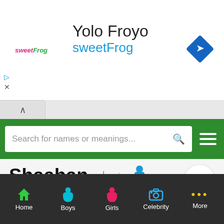[Figure (screenshot): Ad banner for Yolo Froyo / sweetFrog with logo, navigation diamond icon, and collapse/close icons]
Search for names or meanings...
Shaaban شعبان
Baby name meanings, origin and religion
Shaban, Sha'ban or Sha'aban is a given name and surname...
Home  Boys  Girls  Celebrity  More